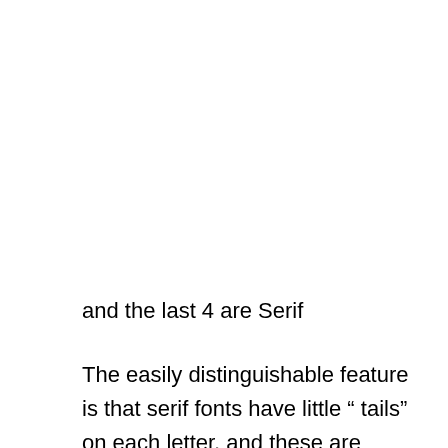and the last 4 are Serif
The easily distinguishable feature is that serif fonts have little “ tails” on each letter, and these are generally more traditional or classic feeling. The